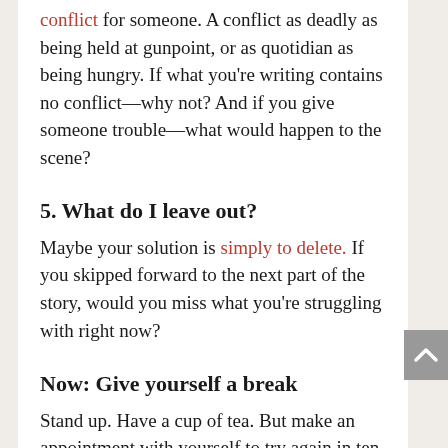conflict for someone. A conflict as deadly as being held at gunpoint, or as quotidian as being hungry. If what you're writing contains no conflict—why not? And if you give someone trouble—what would happen to the scene?
5. What do I leave out?
Maybe your solution is simply to delete. If you skipped forward to the next part of the story, would you miss what you're struggling with right now?
Now: Give yourself a break
Stand up. Have a cup of tea. But make an appointment with yourself to try again in ten minutes. One of my favorite quotations is from